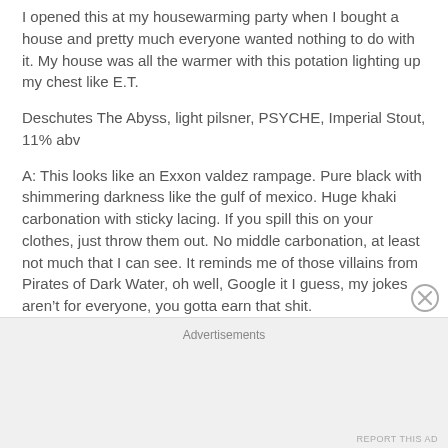I opened this at my housewarming party when I bought a house and pretty much everyone wanted nothing to do with it. My house was all the warmer with this potation lighting up my chest like E.T.
Deschutes The Abyss, light pilsner, PSYCHE, Imperial Stout, 11% abv
A: This looks like an Exxon valdez rampage. Pure black with shimmering darkness like the gulf of mexico. Huge khaki carbonation with sticky lacing. If you spill this on your clothes, just throw them out. No middle carbonation, at least not much that I can see. It reminds me of those villains from Pirates of Dark Water, oh well, Google it I guess, my jokes aren’t for everyone, you gotta earn that shit.
Advertisements